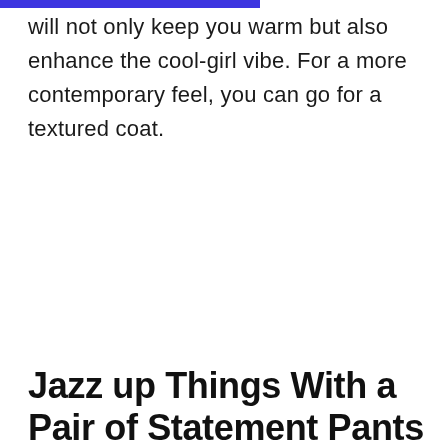will not only keep you warm but also enhance the cool-girl vibe. For a more contemporary feel, you can go for a textured coat.
Jazz up Things With a Pair of Statement Pants